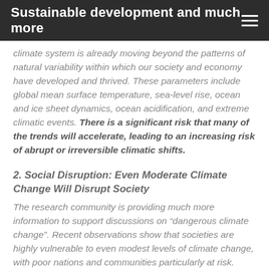Sustainable development and much more
climate system is already moving beyond the patterns of natural variability within which our society and economy have developed and thrived. These parameters include global mean surface temperature, sea-level rise, ocean and ice sheet dynamics, ocean acidification, and extreme climatic events. There is a significant risk that many of the trends will accelerate, leading to an increasing risk of abrupt or irreversible climatic shifts.
2. Social Disruption: Even Moderate Climate Change Will Disrupt Society
The research community is providing much more information to support discussions on “dangerous climate change”. Recent observations show that societies are highly vulnerable to even modest levels of climate change, with poor nations and communities particularly at risk. Temperature rises above 2°C will be very difficult for contemporary societies to cope with,